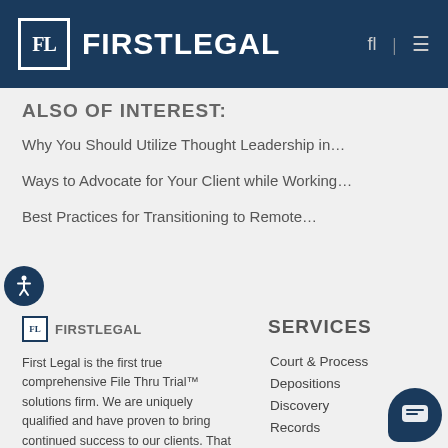FIRST LEGAL
ALSO OF INTEREST:
Why You Should Utilize Thought Leadership in…
Ways to Advocate for Your Client while Working…
Best Practices for Transitioning to Remote…
[Figure (logo): First Legal small footer logo with FL monogram]
SERVICES
First Legal is the first true comprehensive File Thru Trial™ solutions firm. We are uniquely qualified and have proven to bring continued success to our clients. That success comes through the results of…
Court & Process
Depositions
Discovery
Records
Digital